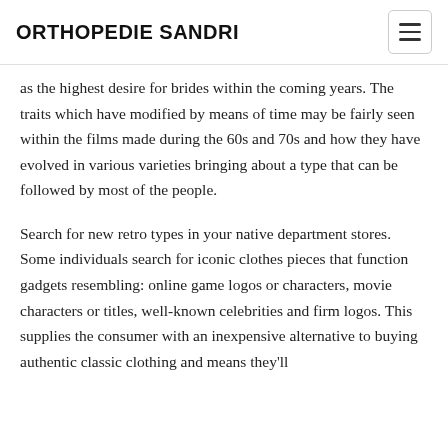ORTHOPEDIE SANDRI
as the highest desire for brides within the coming years. The traits which have modified by means of time may be fairly seen within the films made during the 60s and 70s and how they have evolved in various varieties bringing about a type that can be followed by most of the people.
Search for new retro types in your native department stores. Some individuals search for iconic clothes pieces that function gadgets resembling: online game logos or characters, movie characters or titles, well-known celebrities and firm logos. This supplies the consumer with an inexpensive alternative to buying authentic classic clothing and means they'll